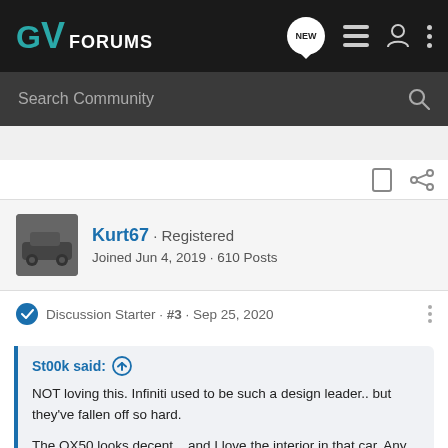GV FORUMS
Search Community
Kurt67 · Registered
Joined Jun 4, 2019 · 610 Posts
Discussion Starter · #3 · Sep 25, 2020
St00k said:
NOT loving this. Infiniti used to be such a design leader.. but they've fallen off so hard.

The QX50 looks decent... and I love the interior in that car. Any interior pics of this thing yet?